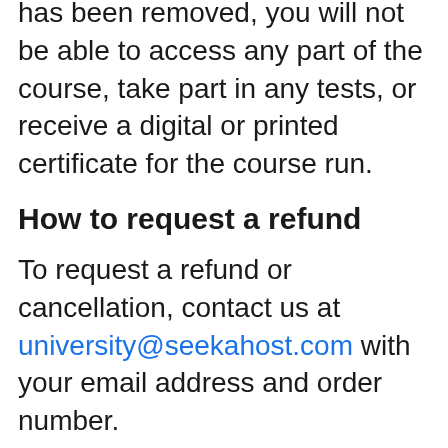Once your access to the paid course has been removed, you will not be able to access any part of the course, take part in any tests, or receive a digital or printed certificate for the course run.
How to request a refund
To request a refund or cancellation, contact us at university@seekahost.com with your email address and order number.
When and how we issue refunds
Upon determining that a cancellation or refund is due to you under these Terms, we will issue such refund or